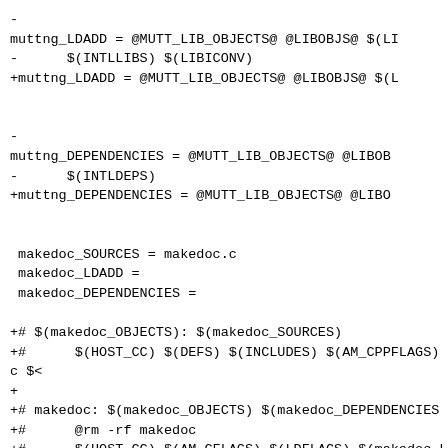-
muttng_LDADD = @MUTT_LIB_OBJECTS@ @LIBOBJS@ $(LI
-      $(INTLLIBS) $(LIBICONV)
+muttng_LDADD = @MUTT_LIB_OBJECTS@ @LIBOBJS@ $(L


-
muttng_DEPENDENCIES = @MUTT_LIB_OBJECTS@ @LIBOB
-      $(INTLDEPS)
+muttng_DEPENDENCIES = @MUTT_LIB_OBJECTS@ @LIBO


 makedoc_SOURCES = makedoc.c
 makedoc_LDADD =
 makedoc_DEPENDENCIES =

+# $(makedoc_OBJECTS): $(makedoc_SOURCES)
+#      $(HOST_CC) $(DEFS) $(INCLUDES) $(AM_CPPFLAGS) $
c $<
+
+# makedoc: $(makedoc_OBJECTS) $(makedoc_DEPENDENCIES
+#      @rm -rf makedoc
+#      $(HOST_CC) $(AM_CFLAGS) $(LDFLAGS) $(makedoc_LI
o makedoc
+